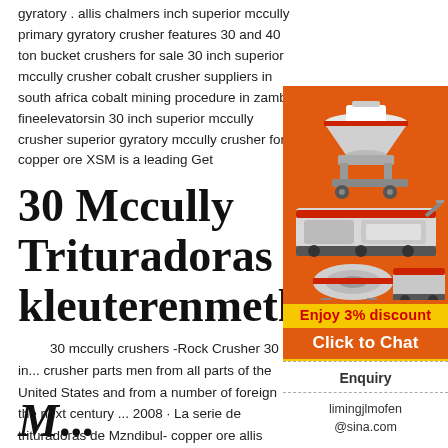gyratory . allis chalmers inch superior mccully primary gyratory crusher features 30 and 40 ton bucket crushers for sale 30 inch superior mccully crusher cobalt crusher suppliers in south africa cobalt mining procedure in zambia fineelevatorsin 30 inch superior mccully crusher superior gyratory mccully crusher for copper ore XSM is a leading Get
30 Mccully Trituradoras - kleuterenmetkuns
30 mccully crushers -Rock Crusher 30 in... crusher parts men from all parts of the United States and from a number of foreign the next century ... 2008 · La serie de trituradoras de Mzndibul- copper ore allis chalmer 30in superior mccully 30 mccully .
[Figure (other): Orange advertisement sidebar for industrial machinery with images of crushers/grinding equipment, discount offer, chat button, enquiry section and email contact limingjlmofen@sina.com]
M...